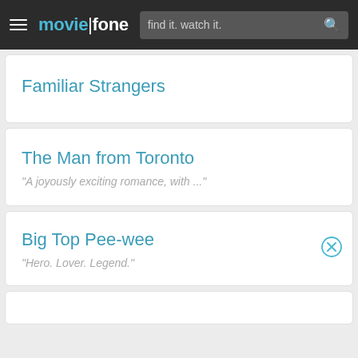moviefone — find it. watch it.
Familiar Strangers
The Man from Toronto
"A joyously exciting romance, with ..."
Big Top Pee-wee
"Hero. Lover. Legend."